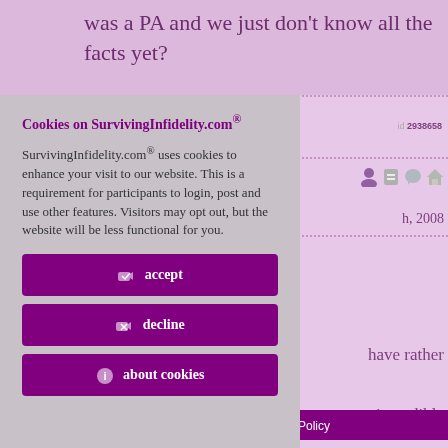was a PA and we just don't know all the facts yet?
Cookies on SurvivingInfidelity.com®
SurvivingInfidelity.com® uses cookies to enhance your visit to our website. This is a requirement for participants to login, post and use other features. Visitors may opt out, but the website will be less functional for you.
id 2938658
h, 2008
have rather
incredible
accept
decline
about cookies
Policy